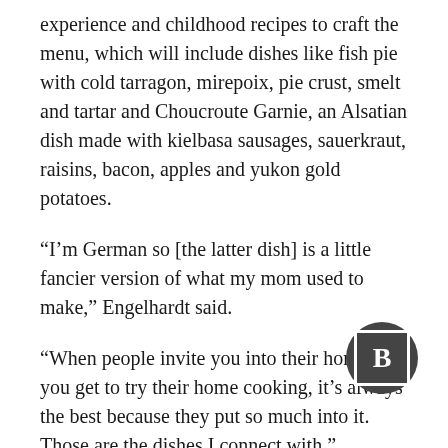experience and childhood recipes to craft the menu, which will include dishes like fish pie with cold tarragon, mirepoix, pie crust, smelt and tartar and Choucroute Garnie, an Alsatian dish made with kielbasa sausages, sauerkraut, raisins, bacon, apples and yukon gold potatoes.
“I’m German so [the latter dish] is a little fancier version of what my mom used to make,” Engelhardt said.
“When people invite you into their home, and you get to try their home cooking, it’s always the best because they put so much into it. Those are the dishes I connect with.”
Engelhardt is a Florida native who moved to